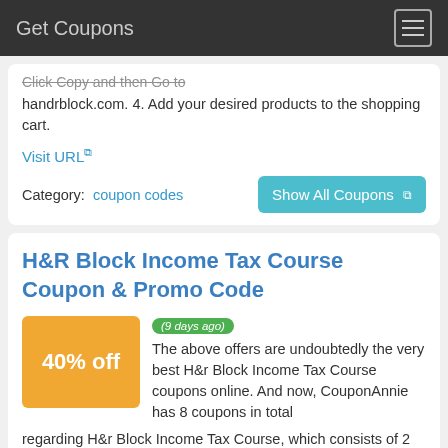Get Coupons
Click Copy and then Go to handrblock.com. 4. Add your desired products to the shopping cart.
Visit URL
Category: coupon codes
Show All Coupons
H&R Block Income Tax Course Coupon & Promo Code
40% off
(9 days ago) The above offers are undoubtedly the very best H&r Block Income Tax Course coupons online. And now, CouponAnnie has 8 coupons in total regarding H&r Block Income Tax Course, which consists of 2 coupon code, 6 deal, and 0 free delivery coupon. For an average discount of 40% off, customers will get the lowest price cuts up to 80% off.